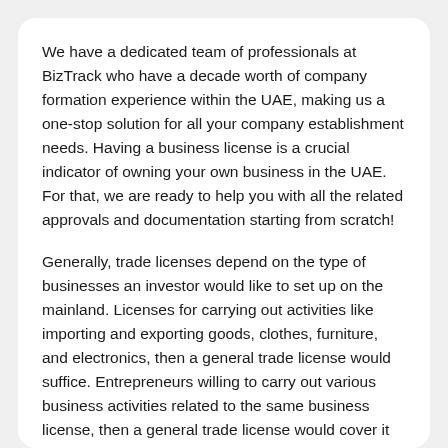We have a dedicated team of professionals at BizTrack who have a decade worth of company formation experience within the UAE, making us a one-stop solution for all your company establishment needs. Having a business license is a crucial indicator of owning your own business in the UAE. For that, we are ready to help you with all the related approvals and documentation starting from scratch!
Generally, trade licenses depend on the type of businesses an investor would like to set up on the mainland. Licenses for carrying out activities like importing and exporting goods, clothes, furniture, and electronics, then a general trade license would suffice. Entrepreneurs willing to carry out various business activities related to the same business license, then a general trade license would cover it all.
However, certain business activities require separate approval from the Government, including the trading of cars, medical products, and guns. Once the approval is